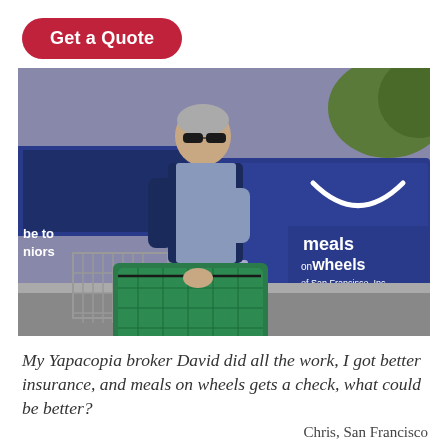Get a Quote
[Figure (photo): A man wearing sunglasses unloading a green insulated meal bag from a blue Meals on Wheels of San Francisco, Inc. vehicle next to a shopping cart.]
My Yapacopia broker David did all the work, I got better insurance, and meals on wheels gets a check, what could be better?
Chris, San Francisco